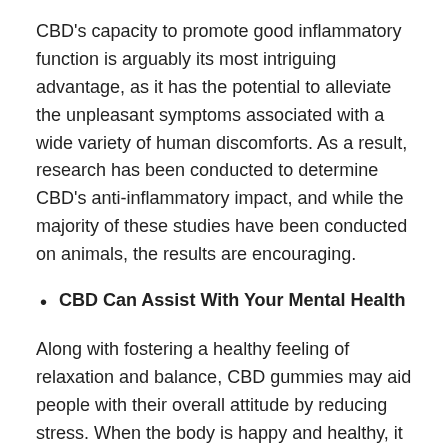CBD's capacity to promote good inflammatory function is arguably its most intriguing advantage, as it has the potential to alleviate the unpleasant symptoms associated with a wide variety of human discomforts. As a result, research has been conducted to determine CBD's anti-inflammatory impact, and while the majority of these studies have been conducted on animals, the results are encouraging.
CBD Can Assist With Your Mental Health
Along with fostering a healthy feeling of relaxation and balance, CBD gummies may aid people with their overall attitude by reducing stress. When the body is happy and healthy, it is much simpler for the mind to follow suit. Controlling your thoughts and establishing affirmations and objectives can then help you achieve a lovely state of mind.